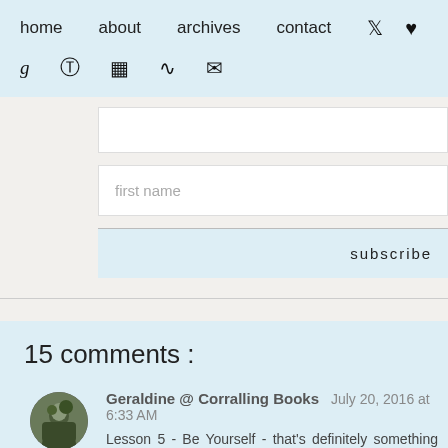home  about  archives  contact  [twitter] [heart]
g  [pinterest]  [instagram]  [rss]  [email]
first name
subscribe
15 comments :
Geraldine @ Corralling Books  July 20, 2016 at 6:33 AM
Lesson 5 - Be Yourself - that's definitely something that I know that's something I used to struggle with a lot. W Hermione, who weren't afraid to show who they were, I h Awesome post, Claire! :)